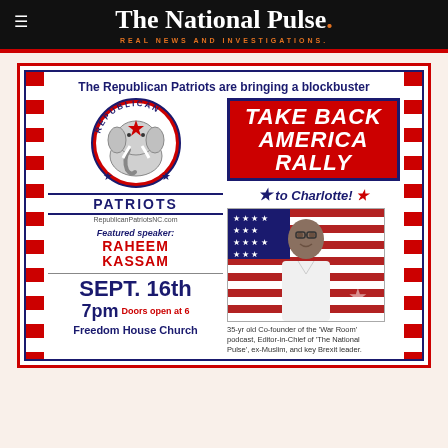The National Pulse. REAL NEWS AND INVESTIGATIONS.
[Figure (infographic): Republican Patriots event flyer for 'Take Back America Rally' in Charlotte featuring Raheem Kassam as speaker on Sept. 16th at 7pm at Freedom House Church. Includes Republican Patriots elephant logo, American flag imagery, speaker photo, stars and stripes border decorations.]
35-yr old Co-founder of the 'War Room' podcast, Editor-in-Chief of 'The National Pulse', ex-Muslim, and key Brexit leader.